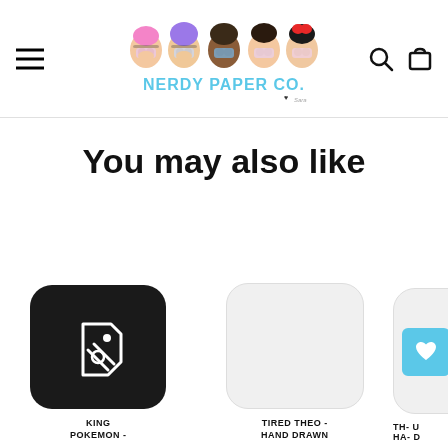[Figure (logo): Nerdy Paper Co. logo with cartoon characters and stylized text]
You may also like
[Figure (illustration): Product card with black rounded square and tag icon, label: KING POKEMON -]
TIRED THEO - HAND DRAWN
TH- U / HA- D